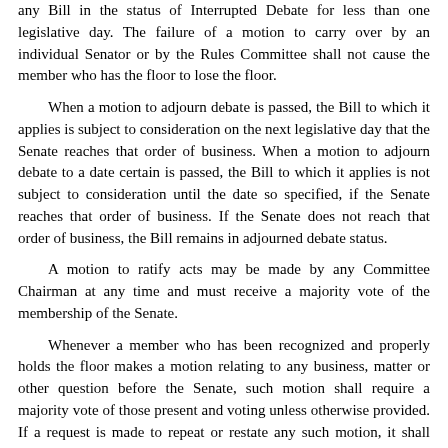any Bill in the status of Interrupted Debate for less than one legislative day. The failure of a motion to carry over by an individual Senator or by the Rules Committee shall not cause the member who has the floor to lose the floor.
When a motion to adjourn debate is passed, the Bill to which it applies is subject to consideration on the next legislative day that the Senate reaches that order of business. When a motion to adjourn debate to a date certain is passed, the Bill to which it applies is not subject to consideration until the date so specified, if the Senate reaches that order of business. If the Senate does not reach that order of business, the Bill remains in adjourned debate status.
A motion to ratify acts may be made by any Committee Chairman at any time and must receive a majority vote of the membership of the Senate.
Whenever a member who has been recognized and properly holds the floor makes a motion relating to any business, matter or other question before the Senate, such motion shall require a majority vote of those present and voting unless otherwise provided. If a request is made to repeat or restate any such motion, it shall only be repeated or restated by the member originally making the motion.